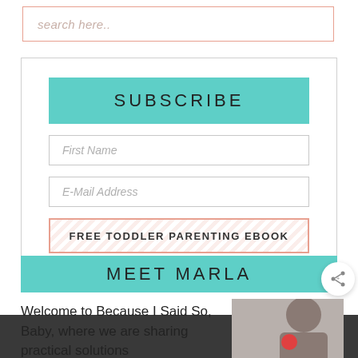search here..
SUBSCRIBE
First Name
E-Mail Address
FREE TODDLER PARENTING EBOOK
MEET MARLA
Welcome to Because I Said So, Baby, where we are sharing practical solutions